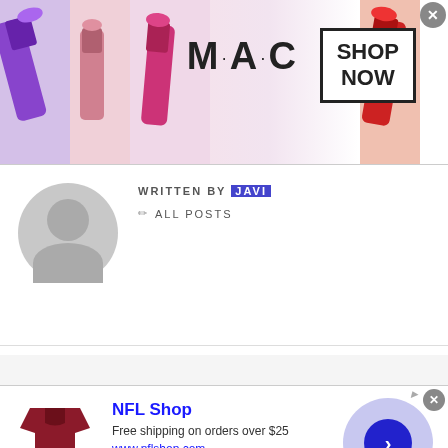[Figure (photo): MAC cosmetics advertisement banner showing colorful lipsticks with MAC logo and SHOP NOW button]
WRITTEN BY JAVI
ALL POSTS
RELATED POSTS
[Figure (photo): NFL Shop advertisement showing red jersey item, NFL Shop text, Free shipping on orders over $25, www.nflshop.com, SHOP NOW button, and a navigation arrow circle]